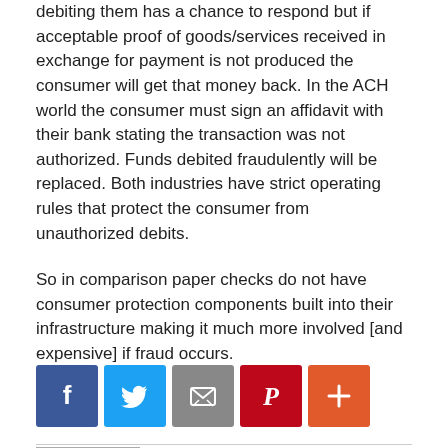debiting them has a chance to respond but if acceptable proof of goods/services received in exchange for payment is not produced the consumer will get that money back. In the ACH world the consumer must sign an affidavit with their bank stating the transaction was not authorized. Funds debited fraudulently will be replaced. Both industries have strict operating rules that protect the consumer from unauthorized debits.
So in comparison paper checks do not have consumer protection components built into their infrastructure making it much more involved [and expensive] if fraud occurs.
[Figure (infographic): Social sharing buttons: Facebook (blue), Twitter (light blue), Email/envelope (gray), Pinterest (red), More/plus (orange-red)]
[Figure (photo): Author photo of Wayne Akey, a man]
About Wayne Akey